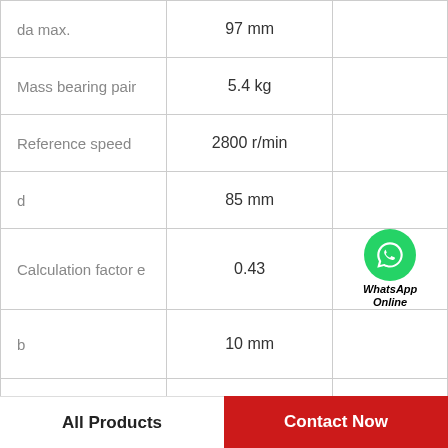| Parameter | Value |  |
| --- | --- | --- |
| da max. | 97 mm |  |
| Mass bearing pair | 5.4 kg |  |
| Reference speed | 2800 r/min |  |
| d | 85 mm |  |
| Calculation factor e | 0.43 | WhatsApp Online |
| b | 10 mm |  |
| D | 150 mm |  |
| Calculation factor Y2 | 2.3 |  |
| Calculation factor Y0 | 1.6 |  |
All Products
Contact Now